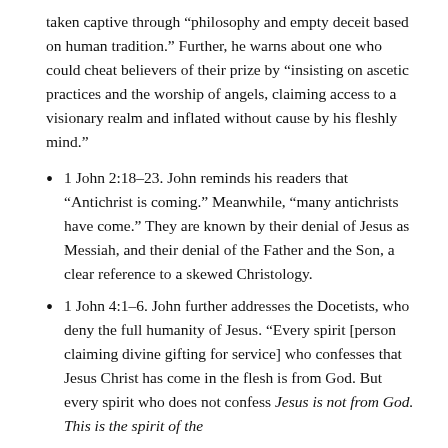taken captive through “philosophy and empty deceit based on human tradition.” Further, he warns about one who could cheat believers of their prize by “insisting on ascetic practices and the worship of angels, claiming access to a visionary realm and inflated without cause by his fleshly mind.”
1 John 2:18–23. John reminds his readers that “Antichrist is coming.” Meanwhile, “many antichrists have come.” They are known by their denial of Jesus as Messiah, and their denial of the Father and the Son, a clear reference to a skewed Christology.
1 John 4:1–6. John further addresses the Docetists, who deny the full humanity of Jesus. “Every spirit [person claiming divine gifting for service] who confesses that Jesus Christ has come in the flesh is from God. But every spirit who does not confess Jesus is not from God. This is the spirit of the